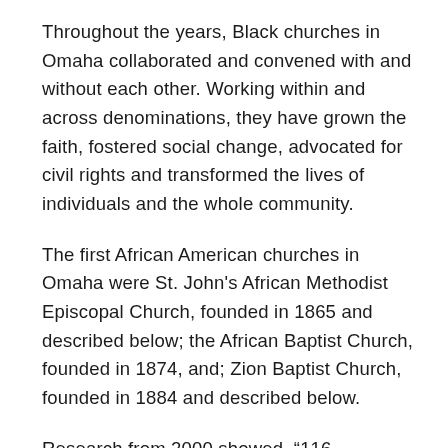Throughout the years, Black churches in Omaha collaborated and convened with and without each other. Working within and across denominations, they have grown the faith, fostered social change, advocated for civil rights and transformed the lives of individuals and the whole community.
The first African American churches in Omaha were St. John's African Methodist Episcopal Church, founded in 1865 and described below; the African Baptist Church, founded in 1874, and; Zion Baptist Church, founded in 1884 and described below.
Research from 2000 showed, “116 predominantly black congregations in Omaha represent twenty-five percent of the churches in a city where African-Americans comprise thirteen percent of the overall population.” That makes the history of Black churches in Omaha very important to the